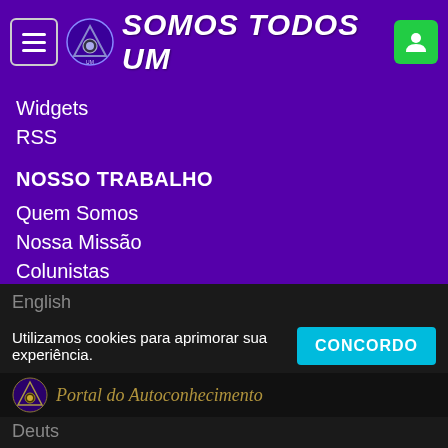SOMOS TODOS UM
Widgets
RSS
NOSSO TRABALHO
Quem Somos
Nossa Missão
Colunistas
Cadastro Gratuito
Descadastramento
Depoimentos
Mapa do Site
Arquivo
STUM NO MUNDO
Spanish
English
Deutsch
Utilizamos cookies para aprimorar sua experiência.
CONCORDO
Portal do Autoconhecimento